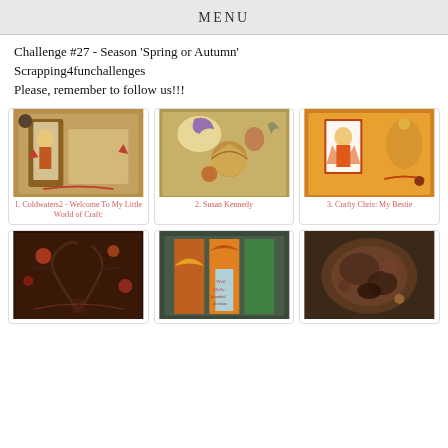MENU
Challenge #27 - Season 'Spring or Autumn'
Scrapping4funchallenges
Please, remember to follow us!!!
[Figure (photo): Craft card with autumn girl figure holding leaves, warm browns and reds]
1. Coldwaters2 - Welcome To My Little World of Craft:
[Figure (photo): Craft card with fairy, snail and squirrel autumn scene]
2. Susan Kennedy
[Figure (photo): Craft card with orange fairy girl on yellow autumn background]
3. Crafty Chris: My Bestie
[Figure (photo): Dark autumn mixed media card with tree and flowers]
[Figure (photo): Colorful autumn card with leaves and 'Well Hello beautiful glorious' text]
[Figure (photo): Dark brown textured autumn element close-up]